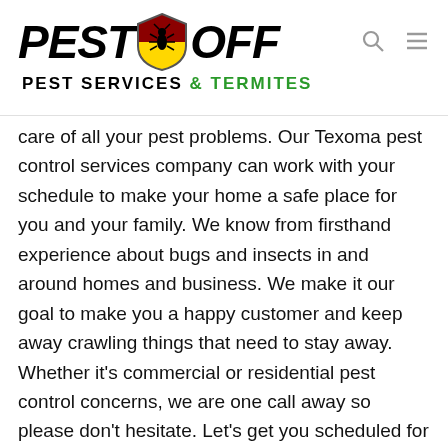[Figure (logo): Pest Off Pest Services & Termites logo with shield emblem containing a bug silhouette in red/yellow/black colors, bold italic black text reading PEST OFF, and subtitle PEST SERVICES & TERMITES]
care of all your pest problems. Our Texoma pest control services company can work with your schedule to make your home a safe place for you and your family. We know from firsthand experience about bugs and insects in and around homes and business. We make it our goal to make you a happy customer and keep away crawling things that need to stay away. Whether it's commercial or residential pest control concerns, we are one call away so please don't hesitate. Let's get you scheduled for service today so you'll have the peace of mind that everyone deserves at home or work.